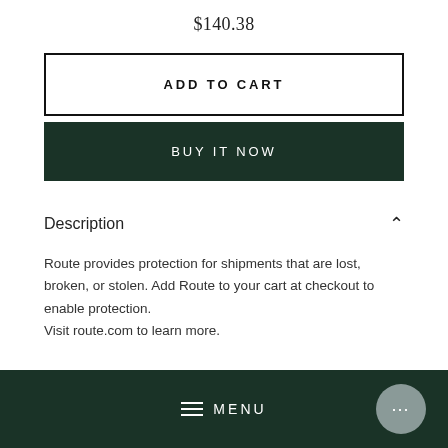$140.38
ADD TO CART
BUY IT NOW
Description
Route provides protection for shipments that are lost, broken, or stolen. Add Route to your cart at checkout to enable protection.
Visit route.com to learn more.
MENU